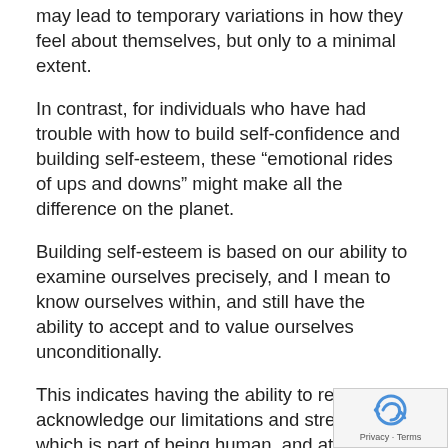may lead to temporary variations in how they feel about themselves, but only to a minimal extent.
In contrast, for individuals who have had trouble with how to build self-confidence and building self-esteem, these “emotional rides of ups and downs” might make all the difference on the planet.
Building self-esteem is based on our ability to examine ourselves precisely, and I mean to know ourselves within, and still have the ability to accept and to value ourselves unconditionally.
This indicates having the ability to realistically acknowledge our limitations and strengths, which is part of being human, and at the exact same time accepting ourselves as worthwhile and deserving without conditio…